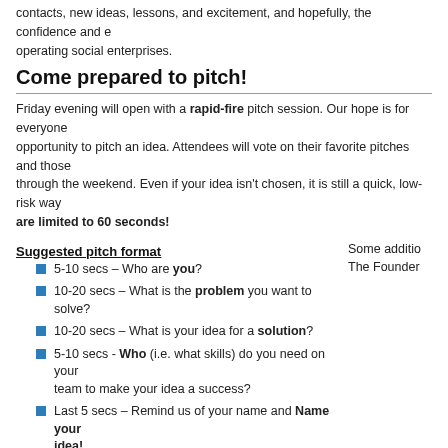contacts, new ideas, lessons, and excitement, and hopefully, the confidence and excitement of operating social enterprises.
Come prepared to pitch!
Friday evening will open with a rapid-fire pitch session. Our hope is for everyone to have the opportunity to pitch an idea. Attendees will vote on their favorite pitches and those will be developed through the weekend. Even if your idea isn't chosen, it is still a quick, low-risk way. Pitches are limited to 60 seconds!
Suggested pitch format
Some additio... The Founder...
5-10 secs – Who are you?
10-20 secs – What is the problem you want to solve?
10-20 secs – What is your idea for a solution?
5-10 secs - Who (i.e. what skills) do you need on your team to make your idea a success?
Last 5 secs – Remind us of your name and Name your idea!
Schedule
| FRIDAY | SATURDAY |
| --- | --- |